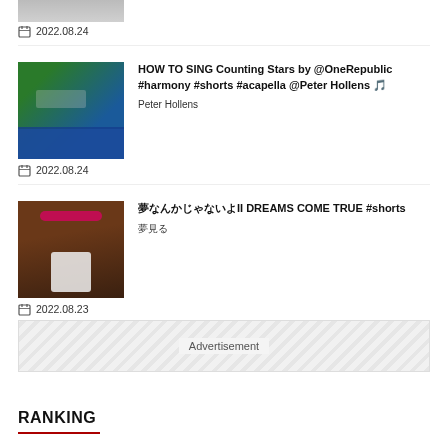[Figure (photo): Cropped thumbnail of a person at top of page, partially visible]
2022.08.24
[Figure (photo): Thumbnail of man with headphones in front of a screen with colorful visuals]
HOW TO SING Counting Stars by @OneRepublic #harmony #shorts #acapella @Peter Hollens 🎵
Peter Hollens
2022.08.24
[Figure (photo): Thumbnail of a child in an elevator with pink neon text overlay]
夢なんかじゃないよII DREAMS COME TRUE #shorts
夢見る
2022.08.23
Advertisement
RANKING